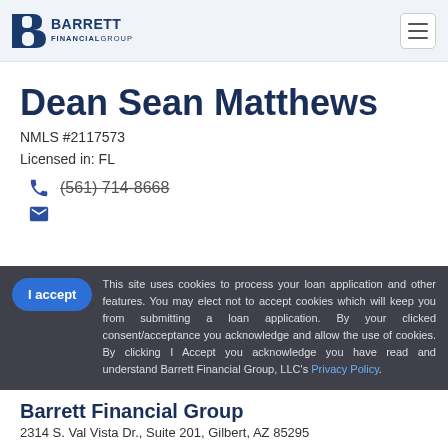[Figure (logo): Barrett Financial Group logo with stylized B icon and text]
Dean Sean Matthews
NMLS #2117573
Licensed in: FL
(561) 714-8668
This site uses cookies to process your loan application and other features. You may elect not to accept cookies which will keep you from submitting a loan application. By your clicked consent/acceptance you acknowledge and allow the use of cookies. By clicking I Accept you acknowledge you have read and understand Barrett Financial Group, LLC's Privacy Policy.
Barrett Financial Group
2314 S. Val Vista Dr., Suite 201, Gilbert, AZ 85295